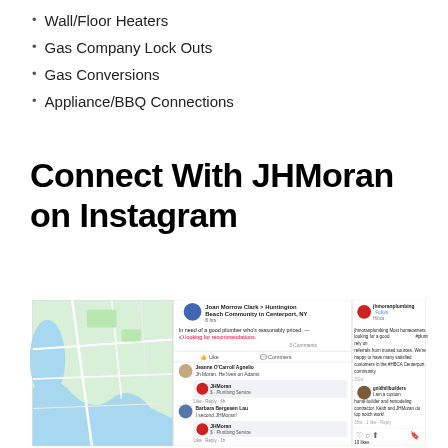Wall/Floor Heaters
Gas Company Lock Outs
Gas Conversions
Appliance/BBQ Connections
Connect With JHMoran on Instagram
[Figure (screenshot): Screenshot collage showing a Facebook post by Joan Morrow Clark in Huntington Beach Community in Centerport NY asking for plumber recommendations, with JHMoran responses, and an Instagram post by jhmoranplumbing about homeowners relying on referrals from trusted sources in the #HBCA Centerport community, with a comment from goldhillbuilders praising Keith and JHMoran. A map of the Centerport area is also visible on the left.]